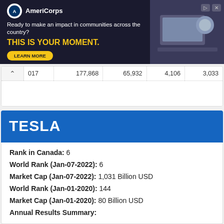[Figure (other): AmeriCorps advertisement banner. Text: 'Ready to make an impact in communities across the country? THIS IS YOUR MOMENT.' with a LEARN MORE button and people working in background image.]
| 2017 | 177,868 | 65,932 | 4,106 | 3,035 |
TESLA
Rank in Canada: 6
World Rank (Jan-07-2022): 6
Market Cap (Jan-07-2022): 1,031 Billion USD
World Rank (Jan-01-2020): 144
Market Cap (Jan-01-2020): 80 Billion USD
Annual Results Summary:
Tesla - Annual Results -